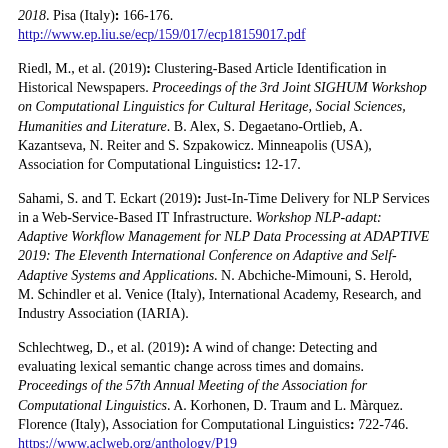2018. Pisa (Italy): 166-176. http://www.ep.liu.se/ecp/159/017/ecp18159017.pdf
Riedl, M., et al. (2019): Clustering-Based Article Identification in Historical Newspapers. Proceedings of the 3rd Joint SIGHUM Workshop on Computational Linguistics for Cultural Heritage, Social Sciences, Humanities and Literature. B. Alex, S. Degaetano-Ortlieb, A. Kazantseva, N. Reiter and S. Szpakowicz. Minneapolis (USA), Association for Computational Linguistics: 12-17.
Sahami, S. and T. Eckart (2019): Just-In-Time Delivery for NLP Services in a Web-Service-Based IT Infrastructure. Workshop NLP-adapt: Adaptive Workflow Management for NLP Data Processing at ADAPTIVE 2019: The Eleventh International Conference on Adaptive and Self-Adaptive Systems and Applications. N. Abchiche-Mimouni, S. Herold, M. Schindler et al. Venice (Italy), International Academy, Research, and Industry Association (IARIA).
Schlechtweg, D., et al. (2019): A wind of change: Detecting and evaluating lexical semantic change across times and domains. Proceedings of the 57th Annual Meeting of the Association for Computational Linguistics. A. Korhonen, D. Traum and L. Màrquez. Florence (Italy), Association for Computational Linguistics: 732-746. https://www.aclweb.org/anthology/P19...